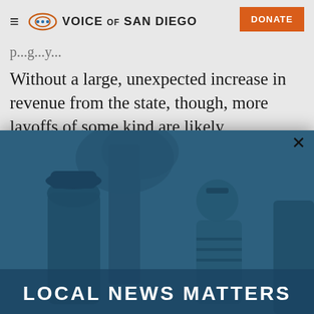Voice of San Diego — DONATE
p...g...y...
Without a large, unexpected increase in revenue from the state, though, more layoffs of some kind are likely.
[Figure (photo): A modal popup overlay showing two people talking outdoors near a tree, photo tinted blue, with white bold text reading LOCAL NEWS MATTERS at the bottom. A close (X) button is in the top-right corner.]